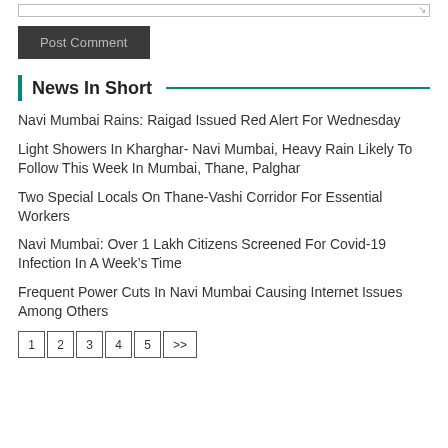[textarea input box]
Post Comment
News In Short
Navi Mumbai Rains: Raigad Issued Red Alert For Wednesday
Light Showers In Kharghar- Navi Mumbai, Heavy Rain Likely To Follow This Week In Mumbai, Thane, Palghar
Two Special Locals On Thane-Vashi Corridor For Essential Workers
Navi Mumbai: Over 1 Lakh Citizens Screened For Covid-19 Infection In A Week’s Time
Frequent Power Cuts In Navi Mumbai Causing Internet Issues Among Others
1  2  3  4  5  >>